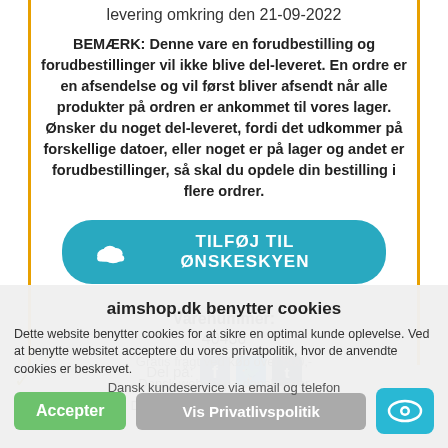levering omkring den 21-09-2022
BEMÆRK: Denne vare en forudbestilling og forudbestillinger vil ikke blive del-leveret. En ordre er en afsendelse og vil først bliver afsendt når alle produkter på ordren er ankommet til vores lager. Ønsker du noget del-leveret, fordi det udkommer på forskellige datoer, eller noget er på lager og andet er forudbestillinger, så skal du opdele din bestilling i flere ordrer.
[Figure (other): Teal rounded button with cloud icon and text TILFØJ TIL ØNSKESKYEN]
Varenummer:
40436
Del på:
Gratis fragt ved køb over 500,-
Dansk webshop - dansk lager
Dag til dag levering af lager vare
Dansk kundeservice via email og telefon
aimshop.dk benytter cookies
Dette website benytter cookies for at sikre en optimal kunde oplevelse. Ved at benytte websitet acceptere du vores privatpolitik, hvor de anvendte cookies er beskrevet.